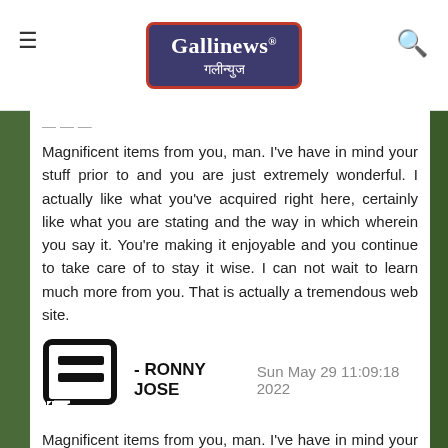[Figure (logo): Gallinews logo: white text on purple/indigo background with red border. English text 'Gallinews®' and Hindi text 'गलीन्युज']
Magnificent items from you, man. I've have in mind your stuff prior to and you are just extremely wonderful. I actually like what you've acquired right here, certainly like what you are stating and the way in which wherein you say it. You're making it enjoyable and you continue to take care of to stay it wise. I can not wait to learn much more from you. That is actually a tremendous web site.
[Figure (illustration): Comment/message bubble icon — square speech bubble with two horizontal lines inside representing text]
- RONNY JOSE   Sun May 29 11:09:18 2022
Magnificent items from you, man. I've have in mind your stuff prior to and you are just extremely wonderful. I actually like what you've acquired right here, certainly like what you are stating and the